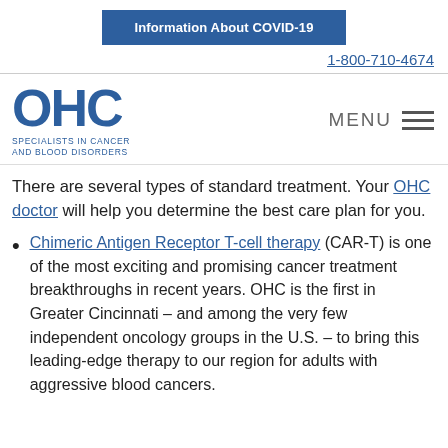Information About COVID-19
1-800-710-4674
[Figure (logo): OHC logo with text: OHC SPECIALISTS IN CANCER AND BLOOD DISORDERS]
There are several types of standard treatment. Your OHC doctor will help you determine the best care plan for you.
Chimeric Antigen Receptor T-cell therapy (CAR-T) is one of the most exciting and promising cancer treatment breakthroughs in recent years. OHC is the first in Greater Cincinnati – and among the very few independent oncology groups in the U.S. – to bring this leading-edge therapy to our region for adults with aggressive blood cancers.